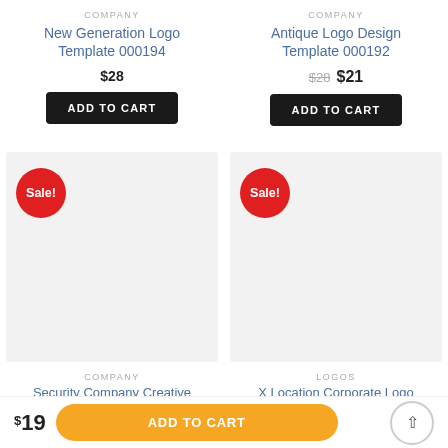COMPANY
New Generation Logo Template 000194
$28
ADD TO CART
COMPANY
Antique Logo Design Template 000192
$28  $21
ADD TO CART
[Figure (illustration): Product thumbnail placeholder with Sale! badge, light gray background]
COMPANY
Security Company Creative
[Figure (illustration): Product thumbnail placeholder with Sale! badge, light gray background]
LOGOS
X Location Corporate Logo
$19  ADD TO CART